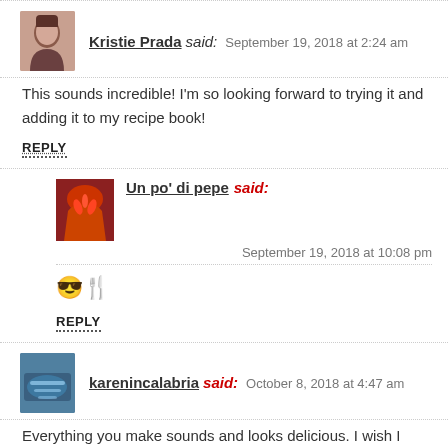Kristie Prada said: September 19, 2018 at 2:24 am
This sounds incredible! I'm so looking forward to trying it and adding it to my recipe book!
REPLY
Un po' di pepe said: September 19, 2018 at 10:08 pm
😎🍴
REPLY
karenincalabria said: October 8, 2018 at 4:47 am
Everything you make sounds and looks delicious. I wish I had more energy in the kitchen…